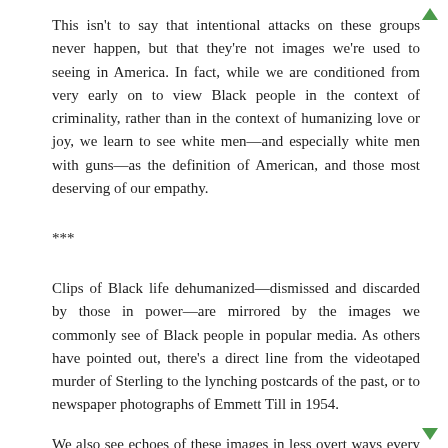This isn't to say that intentional attacks on these groups never happen, but that they're not images we're used to seeing in America. In fact, while we are conditioned from very early on to view Black people in the context of criminality, rather than in the context of humanizing love or joy, we learn to see white men—and especially white men with guns—as the definition of American, and those most deserving of our empathy.
***
Clips of Black life dehumanized—dismissed and discarded by those in power—are mirrored by the images we commonly see of Black people in popular media. As others have pointed out, there's a direct line from the videotaped murder of Sterling to the lynching postcards of the past, or to newspaper photographs of Emmett Till in 1954.
We also see echoes of these images in less overt ways every day. This includes the images on the biggest screen—Hollywood cinema—where we're more likely to see Black people in distress, or creating distress, than we are to see them in joy, or expressing love